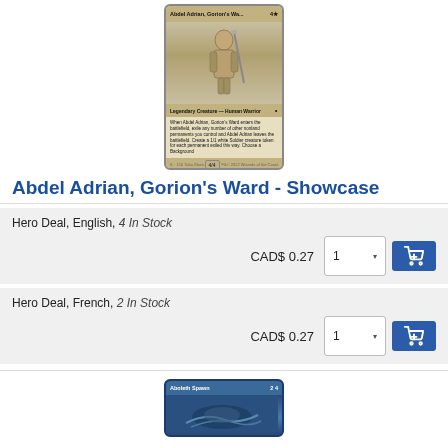[Figure (illustration): Trading card image for Abdel Adrian, Gorion's Ward - Showcase. Tan/brown colored legendary creature card showing a warrior figure. Card text includes: Legendary Creature - Human Warrior, ability text about entering battlefield and creating 1/1 white Soldier tokens, Choose a Background. Power/toughness 4/4.]
Abdel Adrian, Gorion's Ward - Showcase
Hero Deal, English, 4 In Stock
CAD$ 0.27
Hero Deal, French, 2 In Stock
CAD$ 0.27
[Figure (illustration): Partial trading card image for Aboleth Spawn. Blue colored card visible at bottom of page.]